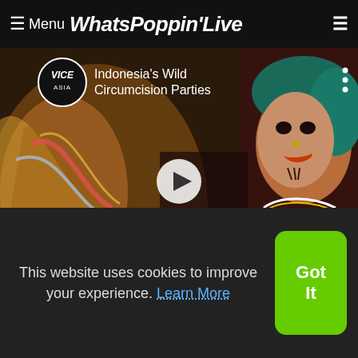≡ Menu WhatsPoppinLive
[Figure (screenshot): Video thumbnail: Indonesia's Wild Circumcision Parties - VICE Asia video with play button overlay]
[Figure (screenshot): Video thumbnail: Thinking Husband Was Cheating (Full)]
[Figure (screenshot): Video thumbnail: P-Square - Do Me (Official Music Video)]
This website uses cookies to improve your experience. Learn More
Got It